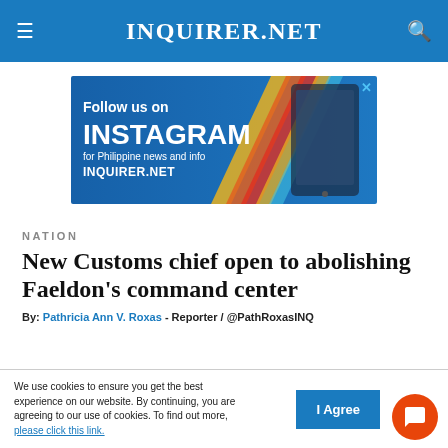INQUIRER.NET
[Figure (illustration): Follow us on Instagram advertisement banner for Philippine news and info - INQUIRER.NET, with colorful diagonal stripes and device mockup images on the right]
NATION
New Customs chief open to abolishing Faeldon’s command center
By: Pathricia Ann V. Roxas - Reporter / @PathRoxasINQ
We use cookies to ensure you get the best experience on our website. By continuing, you are agreeing to our use of cookies. To find out more, please click this link.